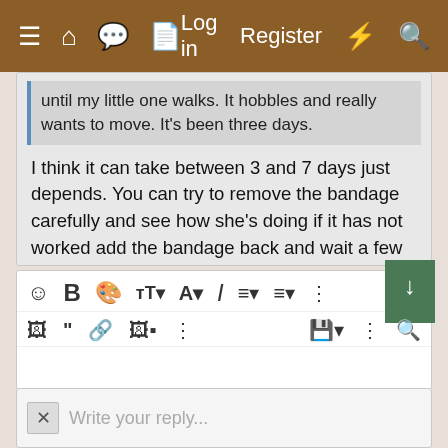≡  🏠  💬  📄    Log in   Register   ⚡   🔍
until my little one walks. It hobbles and really wants to move. It's been three days.
I think it can take between 3 and 7 days just depends. You can try to remove the bandage carefully and see how she's doing if it has not worked add the bandage back and wait a few more days. They don't like having it on but it is the best thing for them. Let me know if she walks
↩ Reply
[Figure (screenshot): Text editor toolbar with formatting icons: emoji, bold B, palette, text size, font A, italic I, list, align, more options, and second row with image, quote, link, image gallery, more; save and search buttons; green up/down scroll buttons on right side.]
Write your reply...